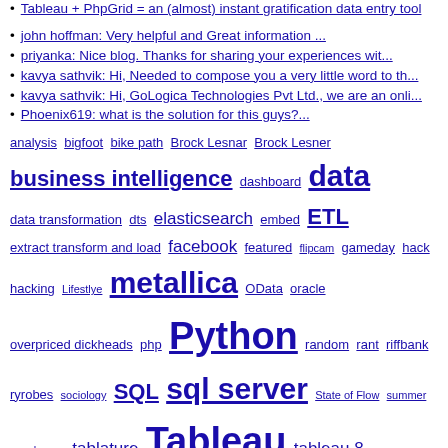Tableau + PhpGrid = an (almost) instant gratification data entry tool
john hoffman: Very helpful and Great information ...
priyanka: Nice blog. Thanks for sharing your experiences wit...
kavya sathvik: Hi, Needed to compose you a very little word to th...
kavya sathvik: Hi, GoLogica Technologies Pvt Ltd., we are an onli...
Phoenix619: what is the solution for this guys?...
analysis bigfoot bike path Brock Lesnar Brock Lesner business intelligence dashboard data data transformation dts elasticsearch embed ETL extract transform and load facebook featured flipcam gameday hack hacking Lifestlye metallica OData oracle overpriced dickheads php Python random rant riffbank ryrobes sociology SQL sql server State of Flow summer sunglasses tablature Tableau tableau 8 tableau data extracts tableau public ubuntu UFC UFC 100